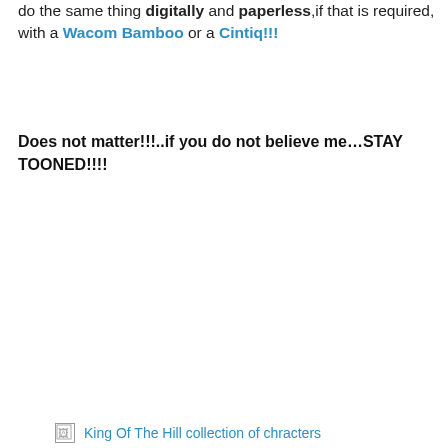do the same thing digitally and paperless,if that is required, with a Wacom Bamboo or a Cintiq!!!
Does not matter!!!..if you do not believe me…STAY TOONED!!!!
[Figure (photo): Broken image placeholder with alt text: King Of The Hill collection of chracters]